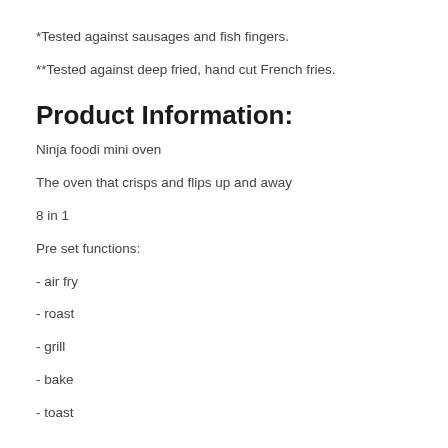*Tested against sausages and fish fingers.
**Tested against deep fried, hand cut French fries.
Product Information:
Ninja foodi mini oven
The oven that crisps and flips up and away
8 in 1
Pre set functions:
- air fry
- roast
- grill
- bake
- toast